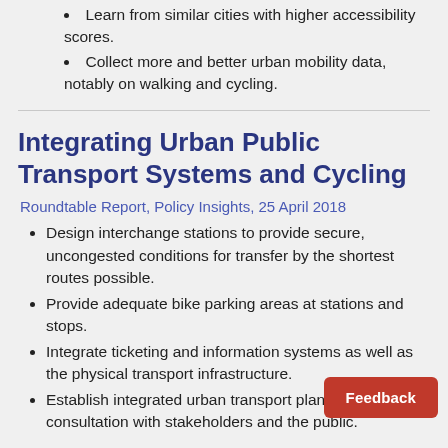Learn from similar cities with higher accessibility scores.
Collect more and better urban mobility data, notably on walking and cycling.
Integrating Urban Public Transport Systems and Cycling
Roundtable Report, Policy Insights, 25 April 2018
Design interchange stations to provide secure, uncongested conditions for transfer by the shortest routes possible.
Provide adequate bike parking areas at stations and stops.
Integrate ticketing and information systems as well as the physical transport infrastructure.
Establish integrated urban transport plans developed in consultation with stakeholders and the public.